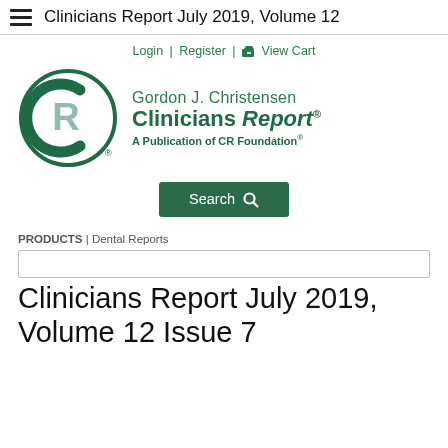≡ Clinicians Report July 2019, Volume 12
Login | Register | 🛒 View Cart
[Figure (logo): Gordon J. Christensen Clinicians Report® – A Publication of CR Foundation® logo with circular CR monogram in dark green]
[Figure (other): Search button with magnifying glass icon]
PRODUCTS | Dental Reports
Search input box (empty)
Clinicians Report July 2019, Volume 12 Issue 7